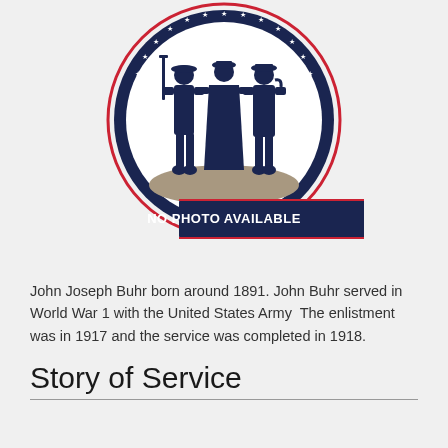[Figure (illustration): Military emblem with silhouettes of three service members (soldier with rifle, civilian, naval officer) inside a circular badge with stars border and red ring. Below the circle is a dark navy ribbon banner reading 'NO PHOTO AVAILABLE' in bold white text.]
John Joseph Buhr born around 1891. John Buhr served in World War 1 with the United States Army  The enlistment was in 1917 and the service was completed in 1918.
Story of Service